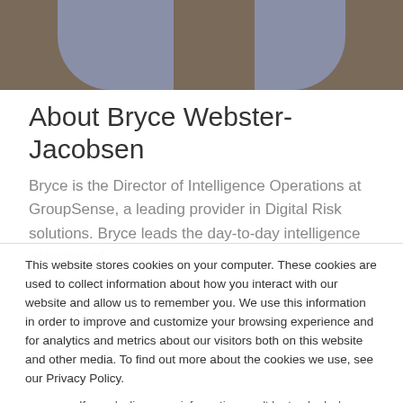[Figure (photo): Partial photo of a person wearing a grey t-shirt against a wooden background, cropped to show torso only.]
About Bryce Webster-Jacobsen
Bryce is the Director of Intelligence Operations at GroupSense, a leading provider in Digital Risk solutions. Bryce leads the day-to-day intelligence activities of
This website stores cookies on your computer. These cookies are used to collect information about how you interact with our website and allow us to remember you. We use this information in order to improve and customize your browsing experience and for analytics and metrics about our visitors both on this website and other media. To find out more about the cookies we use, see our Privacy Policy.
If you decline, your information won't be tracked when you visit this website. A single cookie will be used in your browser to remember your preference not to be tracked.